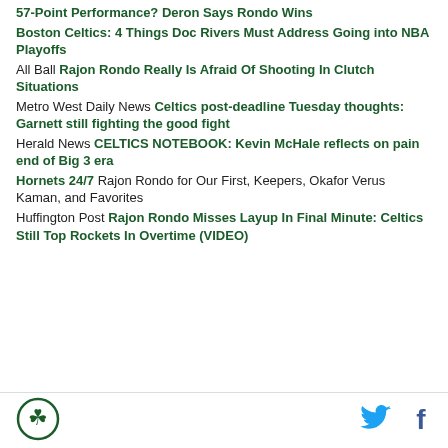57-Point Performance? Deron Says Rondo Wins
Boston Celtics: 4 Things Doc Rivers Must Address Going into NBA Playoffs
All Ball Rajon Rondo Really Is Afraid Of Shooting In Clutch Situations
Metro West Daily News Celtics post-deadline Tuesday thoughts: Garnett still fighting the good fight
Herald News CELTICS NOTEBOOK: Kevin McHale reflects on pain end of Big 3 era
Hornets 24/7 Rajon Rondo for Our First, Keepers, Okafor Verus Kaman, and Favorites
Huffington Post Rajon Rondo Misses Layup In Final Minute: Celtics Still Top Rockets In Overtime (VIDEO)
[Figure (logo): Boston Celtics shamrock logo in green circle]
[Figure (illustration): Twitter bird icon in blue]
[Figure (illustration): Facebook f icon in dark blue]